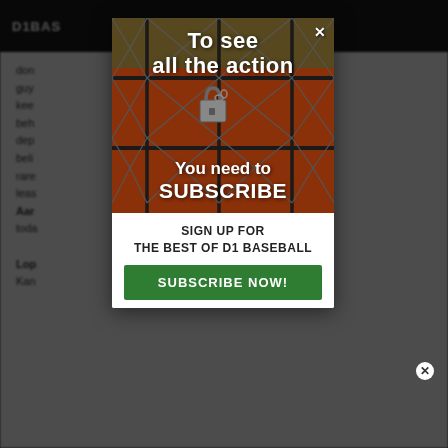[Figure (screenshot): Background page from D1Baseball website showing article text partially visible behind modal overlay]
[Figure (photo): Subscription modal popup over a chain-link fence image with a padlock. Contains overlay text: 'To see all the action', 'You need to SUBSCRIBE', 'SIGN UP FOR THE BEST OF D1 BASEBALL', and a green 'SUBSCRIBE NOW!' button]
To see all the action
You need to SUBSCRIBE
SIGN UP FOR THE BEST OF D1 BASEBALL
SUBSCRIBE NOW!